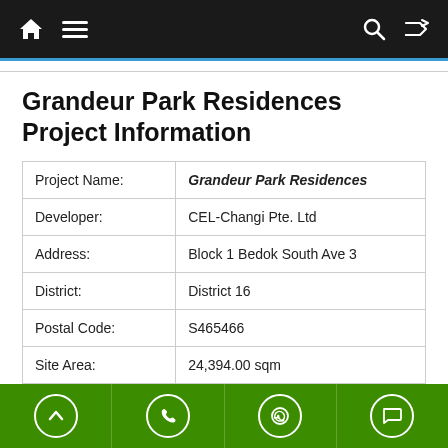Navigation bar with home, menu, search, and shuffle icons
Grandeur Park Residences Project Information
| Field | Value |
| --- | --- |
| Project Name: | Grandeur Park Residences |
| Developer: | CEL-Changi Pte. Ltd |
| Address: | Block 1 Bedok South Ave 3 |
| District: | District 16 |
| Postal Code: | S465466 |
| Site Area: | 24,394.00 sqm |
Bottom action bar with up, phone, WhatsApp, and chat icons